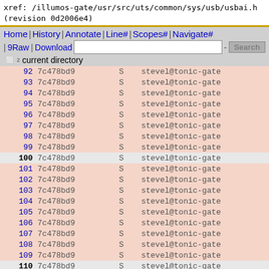xref: /illumos-gate/usr/src/uts/common/sys/usb/usbai.h
(revision 0d2006e4)
Home | History | Annotate | Line# | Scopes# | Navigate#
| Raw | Download  [search box] Search
current directory
| line | hash | flag | author |
| --- | --- | --- | --- |
| 92 | 7c478bd9 | S | stevel@tonic-gate |
| 93 | 7c478bd9 | S | stevel@tonic-gate |
| 94 | 7c478bd9 | S | stevel@tonic-gate |
| 95 | 7c478bd9 | S | stevel@tonic-gate |
| 96 | 7c478bd9 | S | stevel@tonic-gate |
| 97 | 7c478bd9 | S | stevel@tonic-gate |
| 98 | 7c478bd9 | S | stevel@tonic-gate |
| 99 | 7c478bd9 | S | stevel@tonic-gate |
| 100 | 7c478bd9 | S | stevel@tonic-gate |
| 101 | 7c478bd9 | S | stevel@tonic-gate |
| 102 | 7c478bd9 | S | stevel@tonic-gate |
| 103 | 7c478bd9 | S | stevel@tonic-gate |
| 104 | 7c478bd9 | S | stevel@tonic-gate |
| 105 | 7c478bd9 | S | stevel@tonic-gate |
| 106 | 7c478bd9 | S | stevel@tonic-gate |
| 107 | 7c478bd9 | S | stevel@tonic-gate |
| 108 | 7c478bd9 | S | stevel@tonic-gate |
| 109 | 7c478bd9 | S | stevel@tonic-gate |
| 110 | 7c478bd9 | S | stevel@tonic-gate |
| 111 | 7c478bd9 | S | stevel@tonic-gate |
| 112 | 7c478bd9 | S | stevel@tonic-gate |
| 113 | 7c478bd9 | S | stevel@tonic-gate |
| 114 | 7c478bd9 | S | stevel@tonic-gate |
| 115 | 7c478bd9 | S | stevel@tonic-gate |